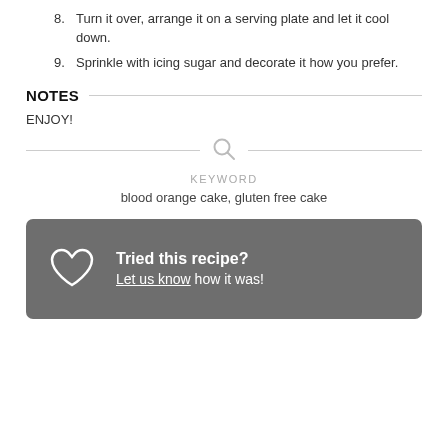8. Turn it over, arrange it on a serving plate and let it cool down.
9. Sprinkle with icing sugar and decorate it how you prefer.
NOTES
ENJOY!
KEYWORD
blood orange cake, gluten free cake
Tried this recipe? Let us know how it was!